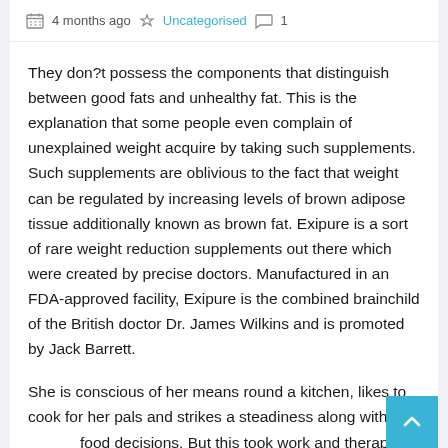4 months ago  Uncategorised  1
They don?t possess the components that distinguish between good fats and unhealthy fat. This is the explanation that some people even complain of unexplained weight acquire by taking such supplements. Such supplements are oblivious to the fact that weight can be regulated by increasing levels of brown adipose tissue additionally known as brown fat. Exipure is a sort of rare weight reduction supplements out there which were created by precise doctors. Manufactured in an FDA-approved facility, Exipure is the combined brainchild of the British doctor Dr. James Wilkins and is promoted by Jack Barrett.
She is conscious of her means round a kitchen, likes to cook for her pals and strikes a steadiness along with her food decisions. But this took work and therapy, and I?d be